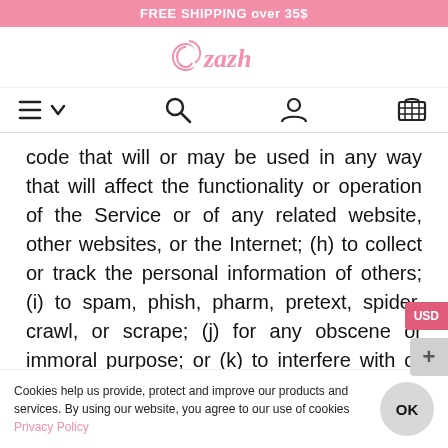FREE SHIPPING over 35$
[Figure (logo): Azazh brand logo in pink script font with swirl icon]
[Figure (infographic): Navigation bar with hamburger menu, chevron, search icon, user icon, and basket/cart icon]
code that will or may be used in any way that will affect the functionality or operation of the Service or of any related website, other websites, or the Internet; (h) to collect or track the personal information of others; (i) to spam, phish, pharm, pretext, spider, crawl, or scrape; (j) for any obscene or immoral purpose; or (k) to interfere with or circumvent the security features of the Service or any related website,
Cookies help us provide, protect and improve our products and services. By using our website, you agree to our use of cookies Privacy Policy